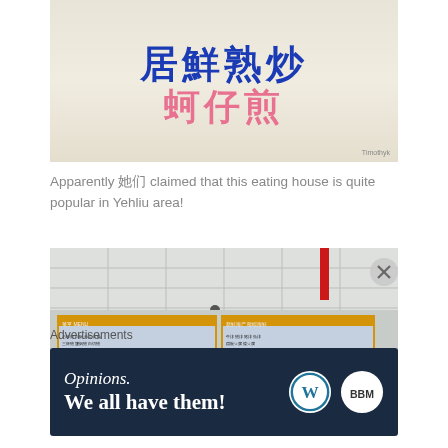[Figure (photo): Photo of a Taiwanese restaurant sign with Chinese characters in blue and pink reading '蚵仔煎' (oyster omelette) and other text, with a watermark 'Timothyk']
Apparently 她们 claimed that this eating house is quite popular in Yehliu area!
[Figure (photo): Interior photo of a Taiwanese eating house showing ceiling tiles with a red decoration, and large menu boards with Chinese characters covering food items and prices, a fan on the right side]
Advertisements
[Figure (other): Advertisement banner with dark navy background. Text reads 'Opinions. We all have them!' with WordPress and BBM logos on the right.]